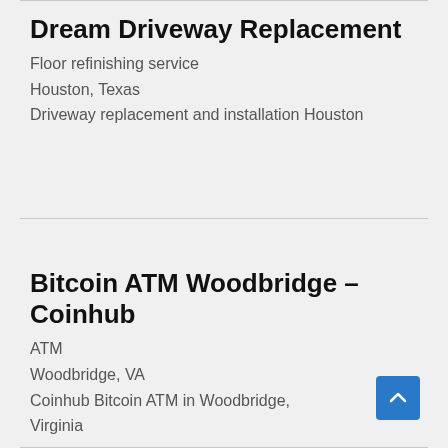Dream Driveway Replacement
Floor refinishing service
Houston, Texas
Driveway replacement and installation Houston
Bitcoin ATM Woodbridge – Coinhub
ATM
Woodbridge, VA
Coinhub Bitcoin ATM in Woodbridge, Virginia